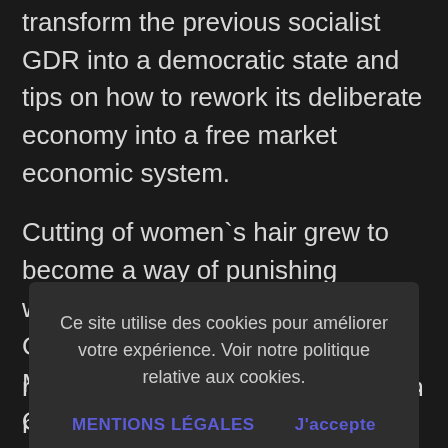transform the previous socialist GDR into a democratic state and tips on how to rework its deliberate economy into a free market economic system.
Cutting of women`s hair grew to become a way of punishing women for intimate relations with German soldiers by Ravna Gora Movement through the occupation. On the other hand, after liberation,
Ce site utilise des cookies pour améliorer votre expérience. Voir notre politique relative aux cookies.
MENTIONS LÉGALES   J'accepte
round seven million extra girls than males